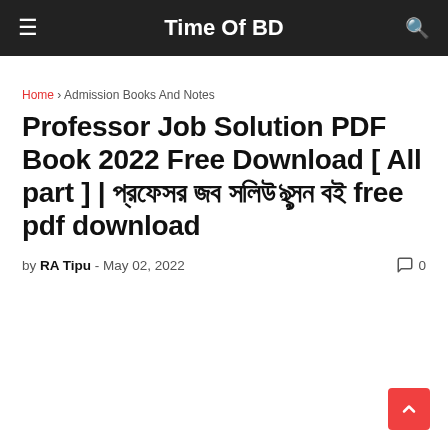Time Of BD
Home › Admission Books And Notes
Professor Job Solution PDF Book 2022 Free Download [ All part ] | প্রফেসর জব সলিউশন বই free pdf download
by RA Tipu - May 02, 2022   💬 0